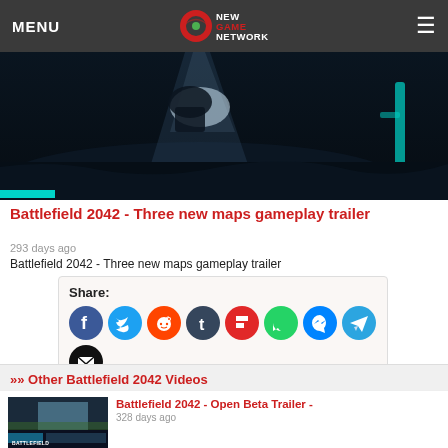MENU | New Game Network
[Figure (screenshot): Dark teal-tinted game screenshot from Battlefield 2042 with a light beam and dark blue/teal environment, with a small teal horizontal bar at bottom-left]
Battlefield 2042 - Three new maps gameplay trailer
293 days ago
Battlefield 2042 - Three new maps gameplay trailer
[Figure (infographic): Share box with social media icons: Facebook, Twitter, Reddit, Tumblr, Flipboard, WhatsApp, Messenger, Telegram, Email]
Other Battlefield 2042 Videos
[Figure (screenshot): Thumbnail of Battlefield 2042 Open Beta Trailer video]
Battlefield 2042 - Open Beta Trailer - 328 days ago